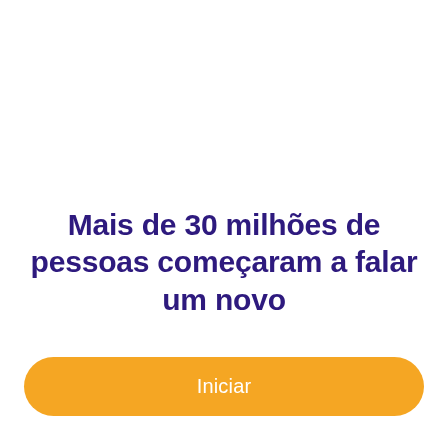Mais de 30 milhões de pessoas começaram a falar um novo
Iniciar